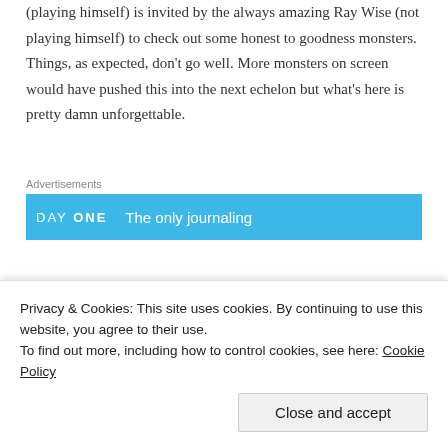(playing himself) is invited by the always amazing Ray Wise (not playing himself) to check out some honest to goodness monsters. Things, as expected, don't go well. More monsters on screen would have pushed this into the next echelon but what's here is pretty damn unforgettable.
[Figure (other): Advertisement banner: Day One journaling app - blue background with 'DAY ONE' text and 'The only journaling' tagline]
–
[Figure (photo): Partial view of two-panel image strip: dark photo on left, beige/tan area on right]
Privacy & Cookies: This site uses cookies. By continuing to use this website, you agree to their use.
To find out more, including how to control cookies, see here: Cookie Policy